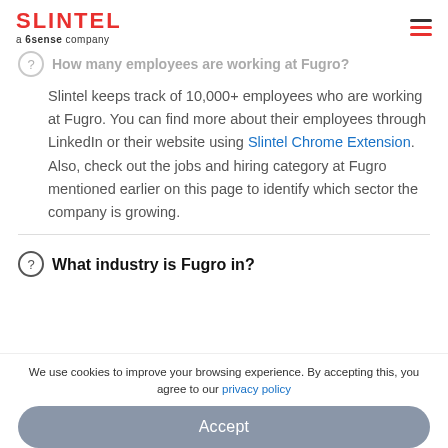SLINTEL a 6sense company
How many employees are working at Fugro?
Slintel keeps track of 10,000+ employees who are working at Fugro. You can find more about their employees through LinkedIn or their website using Slintel Chrome Extension. Also, check out the jobs and hiring category at Fugro mentioned earlier on this page to identify which sector the company is growing.
What industry is Fugro in?
We use cookies to improve your browsing experience. By accepting this, you agree to our privacy policy
Accept